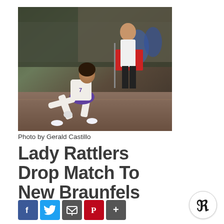[Figure (photo): Female volleyball player in white and purple uniform diving to dig a ball on a gym court, with a referee/line judge in white shirt and black pants visible in the background holding a red flag.]
Photo by Gerald Castillo
Lady Rattlers Drop Match To New Braunfels
[Figure (infographic): Social media sharing buttons: Facebook (blue), Twitter (light blue), Email/share (dark gray), Pinterest (red), More/plus (dark gray)]
Sat, 09/22/2018 - 3:31pm
[Figure (logo): Circular logo with a stylized blackletter R, representing the publication.]